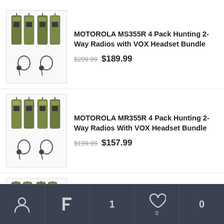[Figure (photo): Motorola MS355R 4 Pack Hunting 2-Way Radios with VOX Headset Bundle product image showing 4 camo radios and 2 headsets]
MOTOROLA MS355R 4 Pack Hunting 2-Way Radios with VOX Headset Bundle
$209.99 $189.99
[Figure (photo): Motorola MR355R 4 Pack Hunting 2-Way Radios With VOX Headset Bundle product image showing 4 camo radios and 2 headsets]
MOTOROLA MR355R 4 Pack Hunting 2-Way Radios With VOX Headset Bundle
$199.99 $157.99
[Figure (photo): Motorola MS355R 4 Pack Hunting 2-Way Radios with Car Charging Inverter Bundle product image showing 4 camo radios and a car charger]
MOTOROLA MS355R 4 Pack Hunting 2-Way Radios with Car Charging Inverter Bundle
$209.99 $199.99
Account | Filter | 1 | Wishlist 0 | 0